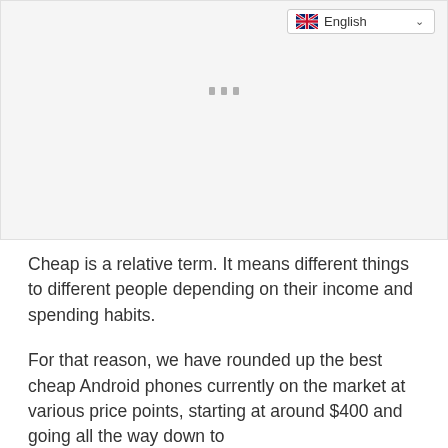[Figure (screenshot): Language selector dropdown showing UK flag and 'English' text with chevron, on a light gray background area representing an advertisement or image placeholder. Three small gray rectangular loading indicator dots are visible in the center of the gray area.]
Cheap is a relative term. It means different things to different people depending on their income and spending habits.
For that reason, we have rounded up the best cheap Android phones currently on the market at various price points, starting at around $400 and going all the way down to